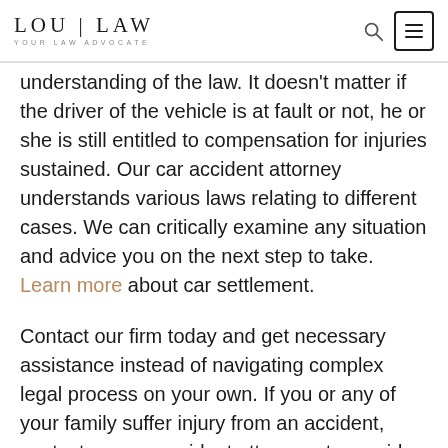LOU | LAW YOUR LAW ADVOCATE
understanding of the law. It doesn't matter if the driver of the vehicle is at fault or not, he or she is still entitled to compensation for injuries sustained. Our car accident attorney understands various laws relating to different cases. We can critically examine any situation and advice you on the next step to take. Learn more about car settlement.
Contact our firm today and get necessary assistance instead of navigating complex legal process on your own. If you or any of your family suffer injury from an accident, contact our car accident attorneys to provide answers to any